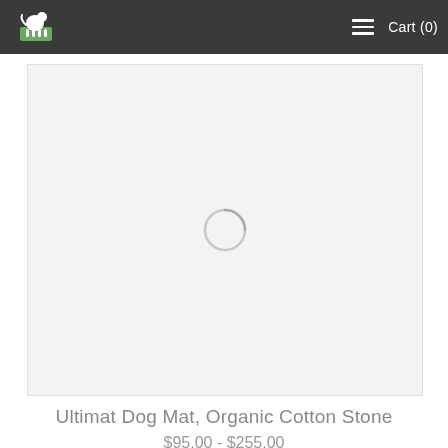Cart (0)
[Figure (photo): Product image loading placeholder — light gray rectangle with a circular spinner in the center indicating the image is loading]
Ultimat Dog Mat, Organic Cotton Stone
$95.00 - $255.00